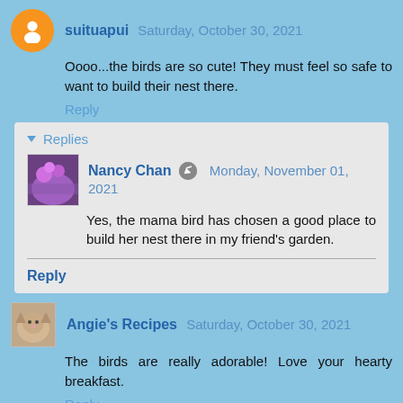suituapui  Saturday, October 30, 2021
Oooo...the birds are so cute! They must feel so safe to want to build their nest there.
Reply
Replies
Nancy Chan  Monday, November 01, 2021
Yes, the mama bird has chosen a good place to build her nest there in my friend's garden.
Reply
Angie's Recipes  Saturday, October 30, 2021
The birds are really adorable! Love your hearty breakfast.
Reply